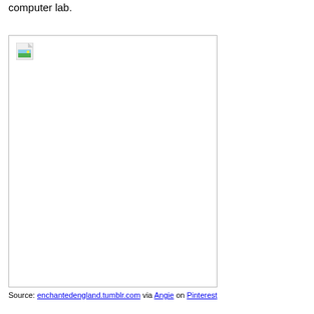computer lab.
[Figure (photo): A broken/missing image placeholder with a small landscape thumbnail icon in the top-left corner, shown within a bordered white rectangle.]
Source: enchantedengland.tumblr.com via Angie on Pinterest